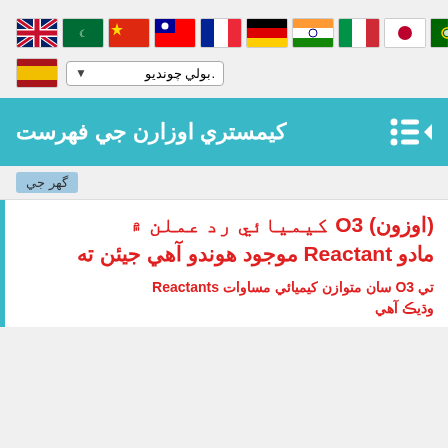[Figure (infographic): Row of country flag icons: UK, Saudi Arabia, China, Taiwan, France, Germany, India, Italy, Japan, Portugal, Russia]
[Figure (infographic): Spain flag icon followed by a dropdown selector with Sindhi text '.بولي چونديو' and a dropdown arrow]
[Figure (infographic): Teal banner with Sindhi text 'كيمستري اوزارن جي فهرست' and menu/arrow icons on right]
گهر جي
(اوزون) O3 كيميائي رد عملن ۾ Reactant مادو موجود هوندو آهي جيئن ته
تي O3 سان متوازن كيميائي مساوات Reactants وڌيڪ آهي